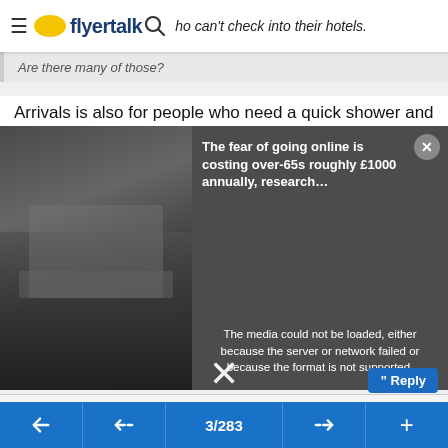[Figure (screenshot): FlyerTalk mobile app header with hamburger menu, speech bubble logo, flyertalk wordmark, and search icon]
…ho can't check into their hotels.
Are there many of those?
Arrivals is also for people who need a quick shower and
[Figure (photo): Dark overlay popup showing: left side - photo of person at laptop; right side - media error message 'The media could not be loaded, either because the server or network failed or because the format is not supported.' and ad text 'The fear of going online is costing over-65s roughly £1000 annually, research…' with X close button. Large X dismiss button at bottom center.]
#39
sxc , Jun 18, 20 2:59 am
Moderator, Cathay Pacific
Quote:
Originally Posted by DYKWIA
[Figure (screenshot): Bottom navigation bar with back, double-back, page 3/283, double-forward, and plus buttons on blue background]